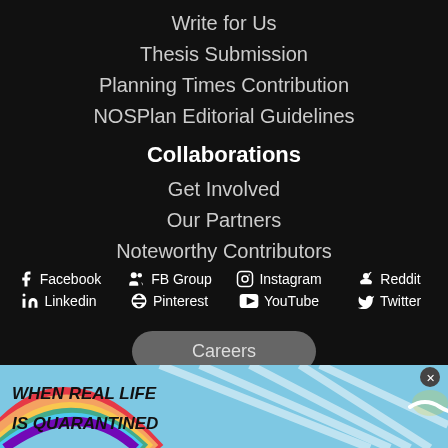Write for Us
Thesis Submission
Planning Times Contribution
NOSPlan Editorial Guidelines
Collaborations
Get Involved
Our Partners
Noteworthy Contributors
Facebook  FB Group  Instagram  Reddit  Linkedin  Pinterest  YouTube  Twitter
Careers
[Figure (infographic): Advertisement banner: colorful rainbow background with text 'WHEN REAL LIFE IS QUARANTINED' and BitLife branding with emoji characters]